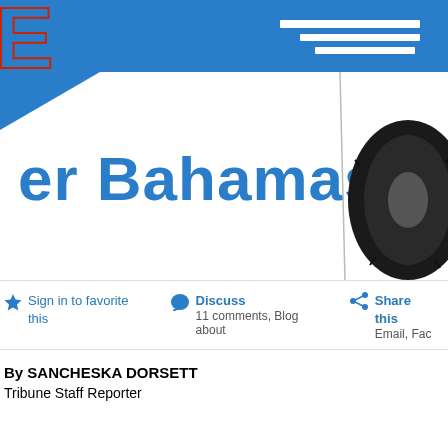[Figure (photo): Close-up of a Bahamas police car door showing 'er Bahamas' text in blue lettering, with blue stripe graphics and a car tire visible at the right edge.]
Sign in to favorite this   Discuss 11 comments, Blog about   Share this Email, Fac
By SANCHESKA DORSETT
Tribune Staff Reporter